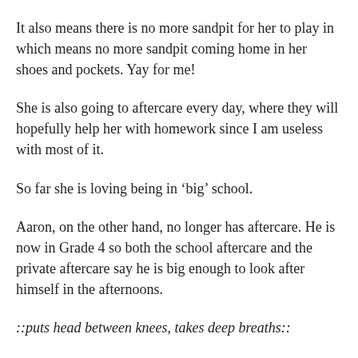It also means there is no more sandpit for her to play in which means no more sandpit coming home in her shoes and pockets. Yay for me!
She is also going to aftercare every day, where they will hopefully help her with homework since I am useless with most of it.
So far she is loving being in ‘big’ school.
Aaron, on the other hand, no longer has aftercare. He is now in Grade 4 so both the school aftercare and the private aftercare say he is big enough to look after himself in the afternoons.
::puts head between knees, takes deep breaths::
My baby is almost 10 and is now coming home from